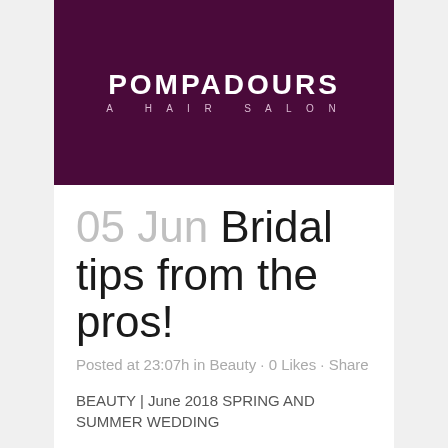[Figure (logo): Pompadours A Hair Salon logo on dark purple/maroon banner background]
05 Jun Bridal tips from the pros!
Posted at 23:07hin Beauty · 0 Likes · Share
BEAUTY | June 2018 SPRING AND SUMMER WEDDING